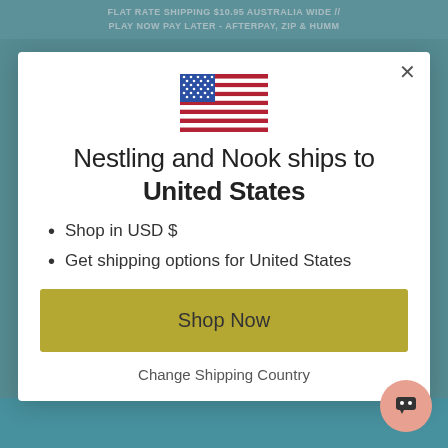FLAT RATE SHIPPING $10.95 AUSTRALIA WIDE // PLAY NOW PAY LATER - AFTERPAY, ZIP & HUMM
[Figure (illustration): US flag emoji/icon centered in modal]
Nestling and Nook ships to United States
Shop in USD $
Get shipping options for United States
Shop Now
Change Shipping Country